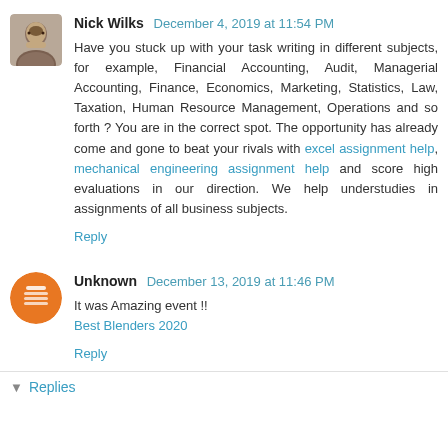Nick Wilks  December 4, 2019 at 11:54 PM
Have you stuck up with your task writing in different subjects, for example, Financial Accounting, Audit, Managerial Accounting, Finance, Economics, Marketing, Statistics, Law, Taxation, Human Resource Management, Operations and so forth ? You are in the correct spot. The opportunity has already come and gone to beat your rivals with excel assignment help, mechanical engineering assignment help and score high evaluations in our direction. We help understudies in assignments of all business subjects.
Reply
Unknown  December 13, 2019 at 11:46 PM
It was Amazing event !!
Best Blenders 2020
Reply
Replies